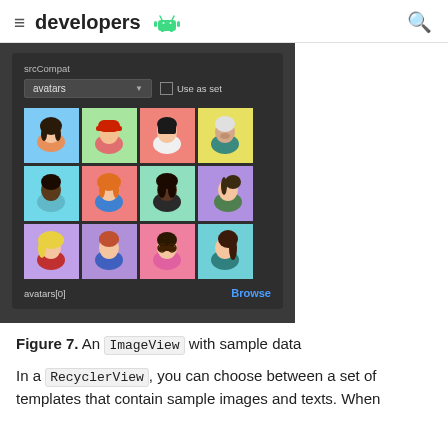≡ developers 🤖  🔍
[Figure (screenshot): Android Studio screenshot showing srcCompat property panel with 'avatars' dropdown and a 4x3 grid of avatar illustrations, with 'avatars[0]' label and a 'Browse' link at the bottom.]
Figure 7. An ImageView with sample data
In a RecyclerView, you can choose between a set of templates that contain sample images and texts. When